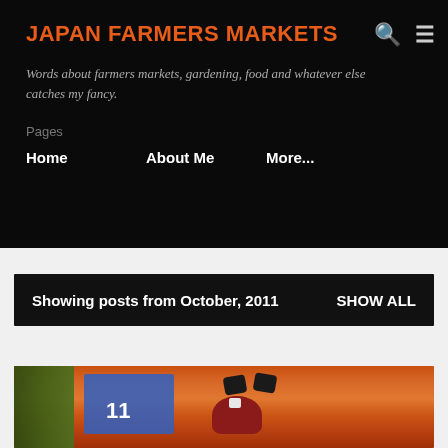JAPAN FARMERS MARKETS
Words about farmers markets, gardening, food and whatever else catches my fancy.
Pages
Home
About Me
More...
Showing posts from October, 2011    SHOW ALL
[Figure (photo): Close-up photo of orange pumpkins with a decorative face, with Japanese signage visible in the background]